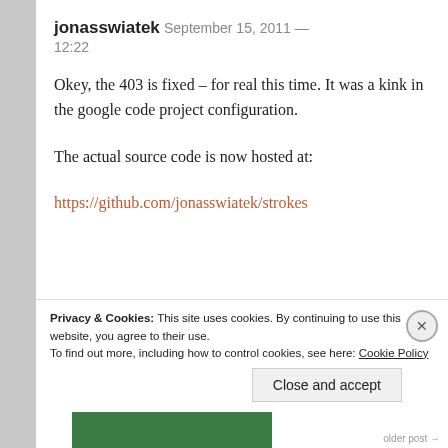jonasswiatek  September 15, 2011 — 12:22
Okey, the 403 is fixed – for real this time. It was a kink in the google code project configuration.
The actual source code is now hosted at:
https://github.com/jonasswiatek/strokes
Privacy & Cookies: This site uses cookies. By continuing to use this website, you agree to their use. To find out more, including how to control cookies, see here: Cookie Policy
Close and accept